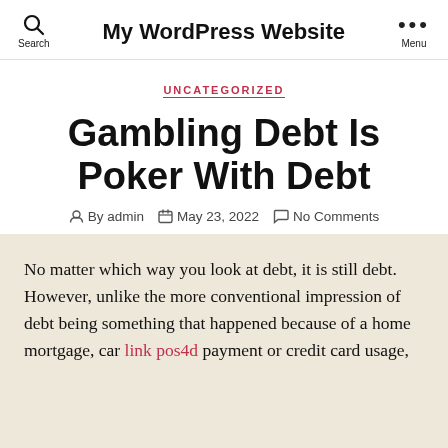My WordPress Website
UNCATEGORIZED
Gambling Debt Is Poker With Debt
By admin   May 23, 2022   No Comments
No matter which way you look at debt, it is still debt. However, unlike the more conventional impression of debt being something that happened because of a home mortgage, car link pos4d payment or credit card usage,